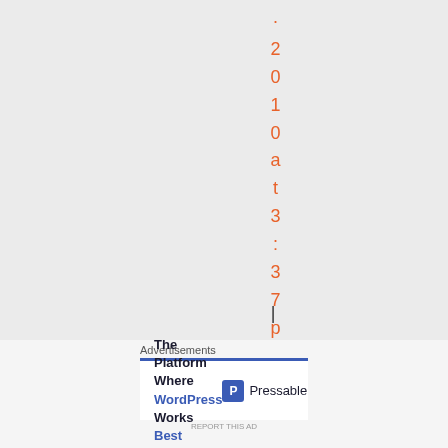·2010at3:37pm
| h
Advertisements
[Figure (other): Advertisement banner for Pressable: 'The Platform Where WordPress Works Best' with Pressable logo on the right, blue top border]
REPORT THIS AD